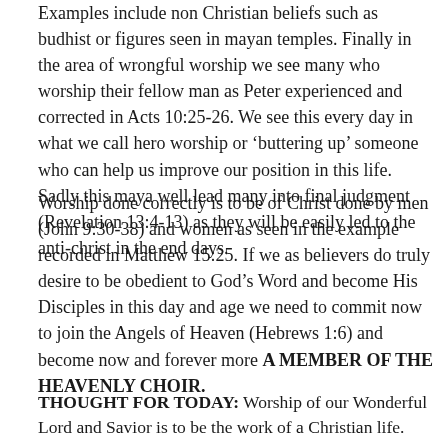Examples include non Christian beliefs such as budhist or figures seen in mayan temples. Finally in the area of wrongful worship we see many who worship their fellow man as Peter experienced and corrected in Acts 10:25-26. We see this every day in what we call hero worship or ‘buttering up’ someone who can help us improve our position in this life. Sadly this maya well lead many into final judgment (Revelation 13:4-13) as they will be easily led to the anti-christ in the end days.
Worship done correctly is to be of Christ done by men (John 9:30-38) and women as seen in the example recorded in Matthew 15:25. If we as believers do truly desire to be obedient to God’s Word and become His Disciples in this day and age we need to commit now to join the Angels of Heaven (Hebrews 1:6) and become now and forever more A MEMBER OF THE HEAVENLY CHOIR.
THOUGHT FOR TODAY: Worship of our Wonderful Lord and Savior is to be the work of a Christian life.